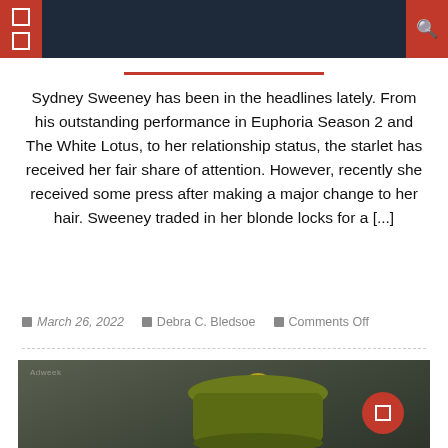Navigation bar with icons
Sydney Sweeney has been in the headlines lately. From his outstanding performance in Euphoria Season 2 and The White Lotus, to her relationship status, the starlet has received her fair share of attention. However, recently she received some press after making a major change to her hair. Sweeney traded in her blonde locks for a [...]
March 26, 2022  Debra C. Bledsoe  Comments Off
[Figure (photo): Dark olive/green colored dish or pot with a gold knob lid, photographed against a dark muted green-gray background]